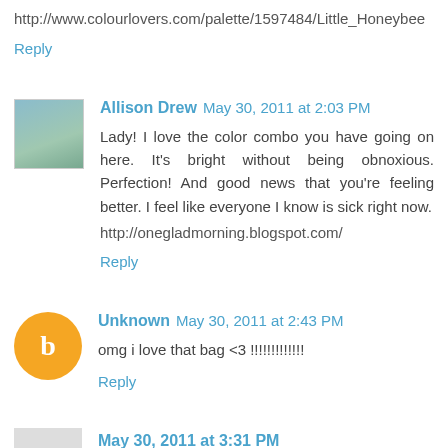http://www.colourlovers.com/palette/1597484/Little_Honeybee
Reply
Allison Drew  May 30, 2011 at 2:03 PM
Lady! I love the color combo you have going on here. It's bright without being obnoxious. Perfection! And good news that you're feeling better. I feel like everyone I know is sick right now.
http://onegladmorning.blogspot.com/
Reply
Unknown  May 30, 2011 at 2:43 PM
omg i love that bag <3 !!!!!!!!!!!!
Reply
May 30, 2011 at 3:31 PM